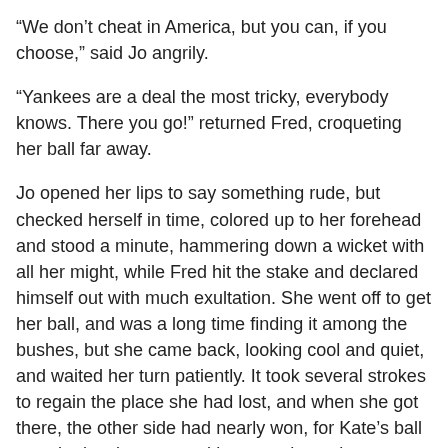“We don’t cheat in America, but you can, if you choose,” said Jo angrily.
“Yankees are a deal the most tricky, everybody knows. There you go!” returned Fred, croqueting her ball far away.
Jo opened her lips to say something rude, but checked herself in time, colored up to her forehead and stood a minute, hammering down a wicket with all her might, while Fred hit the stake and declared himself out with much exultation. She went off to get her ball, and was a long time finding it among the bushes, but she came back, looking cool and quiet, and waited her turn patiently. It took several strokes to regain the place she had lost, and when she got there, the other side had nearly won, for Kate’s ball was the last but one and lay near the stake.
“By George, it’s all up with us! Goodbye, Kate. Miss Jo owes me one, so you are finished,” cried Fred excitedly, as they all drew near to see the finish.
“Yankees have a trick of being generous to their enemies,” said Jo, with a look that made the lad redden, “especially